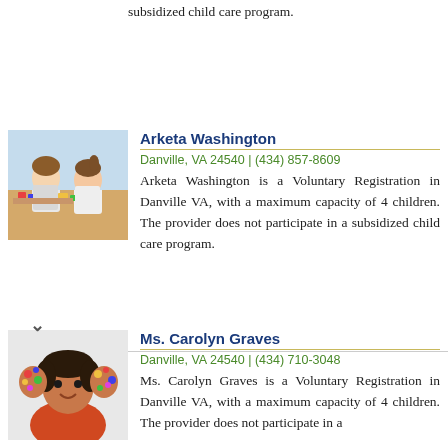subsidized child care program.
Arketa Washington
Danville, VA 24540 | (434) 857-8609
Arketa Washington is a Voluntary Registration in Danville VA, with a maximum capacity of 4 children. The provider does not participate in a subsidized child care program.
[Figure (photo): Two children sitting at a table doing arts and crafts]
Ms. Carolyn Graves
Danville, VA 24540 | (434) 710-3048
Ms. Carolyn Graves is a Voluntary Registration in Danville VA, with a maximum capacity of 4 children. The provider does not participate in a
[Figure (photo): Child with colorful painted hands covering face]